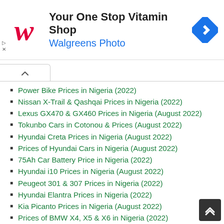[Figure (other): Walgreens advertisement banner: logo, text 'Your One Stop Vitamin Shop / Walgreens Photo', and navigation arrow icon]
Power Bike Prices in Nigeria (2022)
Nissan X-Trail & Qashqai Prices in Nigeria (2022)
Lexus GX470 & GX460 Prices in Nigeria (August 2022)
Tokunbo Cars in Cotonou & Prices (August 2022)
Hyundai Creta Prices in Nigeria (August 2022)
Prices of Hyundai Cars in Nigeria (August 2022)
75Ah Car Battery Price in Nigeria (2022)
Hyundai i10 Prices in Nigeria (August 2022)
Peugeot 301 & 307 Prices in Nigeria (2022)
Hyundai Elantra Prices in Nigeria (2022)
Kia Picanto Prices in Nigeria (August 2022)
Prices of BMW X4, X5 & X6 in Nigeria (2022)
Electric Scooter Prices in Nigeria (August 2022)